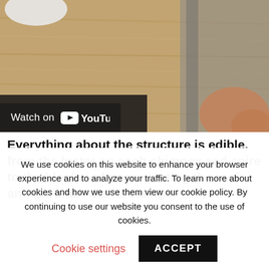[Figure (screenshot): YouTube video thumbnail showing close-up of wood and metal surface with a hand visible, with 'Watch on YouTube' overlay bar at bottom left.]
Everything about the structure is edible, from the luster on each chimney and spire to the blanket of snow dusting the roof and ground. After creating a
We use cookies on this website to enhance your browser experience and to analyze your traffic. To learn more about cookies and how we use them view our cookie policy. By continuing to use our website you consent to the use of cookies.
Cookie settings
ACCEPT